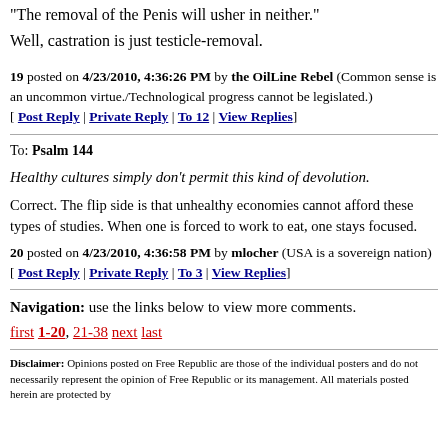"The removal of the Penis will usher in neither."
Well, castration is just testicle-removal.
19 posted on 4/23/2010, 4:36:26 PM by the OilLine Rebel (Common sense is an uncommon virtue./Technological progress cannot be legislated.) [ Post Reply | Private Reply | To 12 | View Replies]
To: Psalm 144
Healthy cultures simply don't permit this kind of devolution.
Correct. The flip side is that unhealthy economies cannot afford these types of studies. When one is forced to work to eat, one stays focused.
20 posted on 4/23/2010, 4:36:58 PM by mlocher (USA is a sovereign nation) [ Post Reply | Private Reply | To 3 | View Replies]
Navigation: use the links below to view more comments. first 1-20, 21-38 next last
Disclaimer: Opinions posted on Free Republic are those of the individual posters and do not necessarily represent the opinion of Free Republic or its management. All materials posted herein are protected by